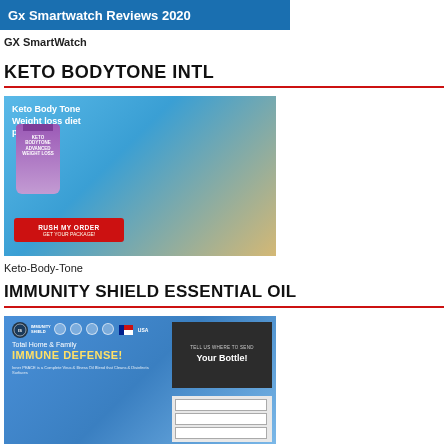[Figure (illustration): Banner image with blue background reading 'Gx Smartwatch Reviews 2020' in white bold text]
GX SmartWatch
KETO BODYTONE INTL
[Figure (photo): Keto Body Tone weight loss diet pills promotional image showing pill bottle and woman running on beach, with 'RUSH MY ORDER - GET YOUR PACKAGE!' red button]
Keto-Body-Tone
IMMUNITY SHIELD ESSENTIAL OIL
[Figure (photo): Immunity Shield promotional banner showing 'Total Home & Family IMMUNE DEFENSE!' with a form to enter address and 'Tell Us Where To Send Your Bottle!' call to action]